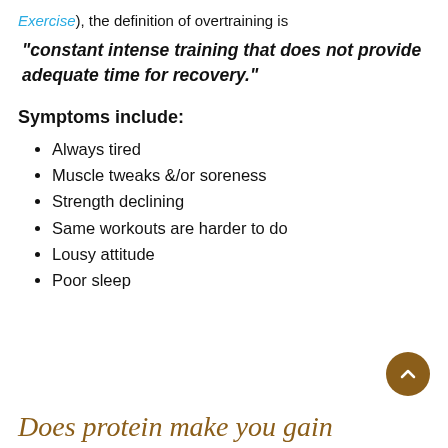Exercise), the definition of overtraining is
"constant intense training that does not provide adequate time for recovery."
Symptoms include:
Always tired
Muscle tweaks &/or soreness
Strength declining
Same workouts are harder to do
Lousy attitude
Poor sleep
Does protein make you gain